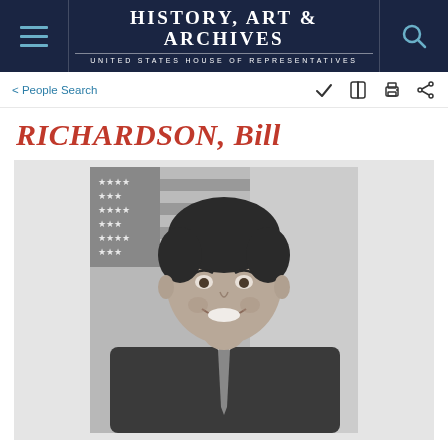History, Art & Archives — United States House of Representatives
< People Search
RICHARDSON, Bill
[Figure (photo): Black and white official portrait photograph of Bill Richardson smiling, wearing a dark suit and tie, with an American flag visible in the background.]